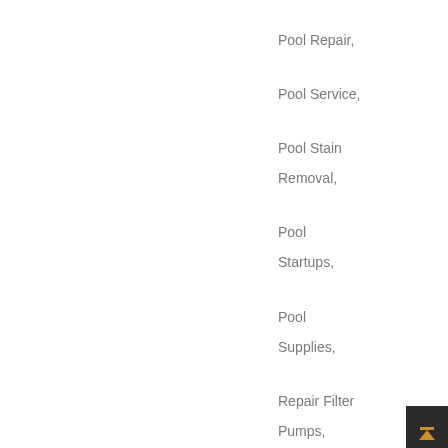Pool Repair,
Pool Service,
Pool Stain Removal,
Pool Startups,
Pool Supplies,
Repair Filter Pumps,
Swimming Pool,
Swimming Pool Maintenance
Wordpress3